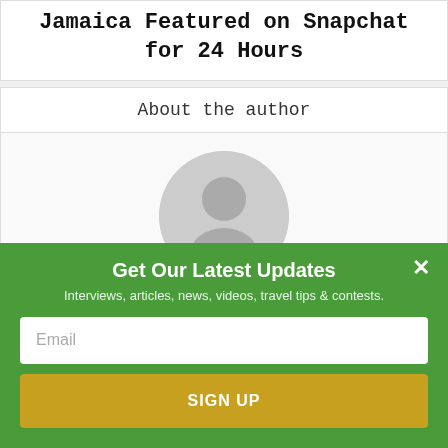Jamaica Featured on Snapchat for 24 Hours
About the author
[Figure (illustration): Default user avatar placeholder — a grey circle with a silhouette of a person (head and shoulders)]
Vinette K. Pryce
Get Our Latest Updates
Interviews, articles, news, videos, travel tips & contests.
Email
SIGN UP